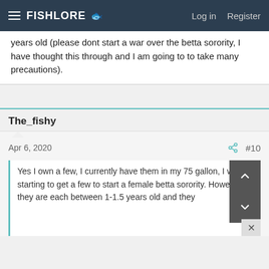FISHLORE  Log in  Register
years old (please dont start a war over the betta sorority, I have thought this through and I am going to to take many precautions).
The_fishy
Apr 6, 2020  #10
Yes I own a few, I currently have them in my 75 gallon, I was starting to get a few to start a female betta sorority. However they are each between 1-1.5 years old and they